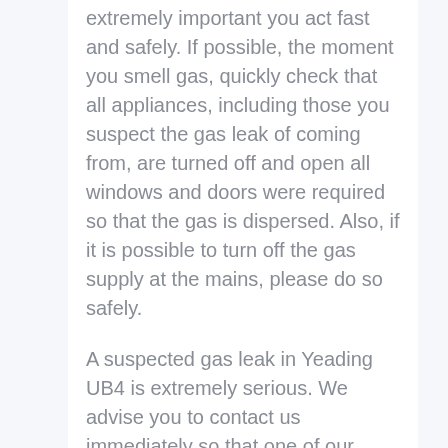extremely important you act fast and safely. If possible, the moment you smell gas, quickly check that all appliances, including those you suspect the gas leak of coming from, are turned off and open all windows and doors were required so that the gas is dispersed. Also, if it is possible to turn off the gas supply at the mains, please do so safely.
A suspected gas leak in Yeading UB4 is extremely serious. We advise you to contact us immediately so that one of our members emergency gas safe engineers in Yeading UB4 can make their way to you as soon as possible to check and fix the gas leak.
How leaking pipes can become hazardous